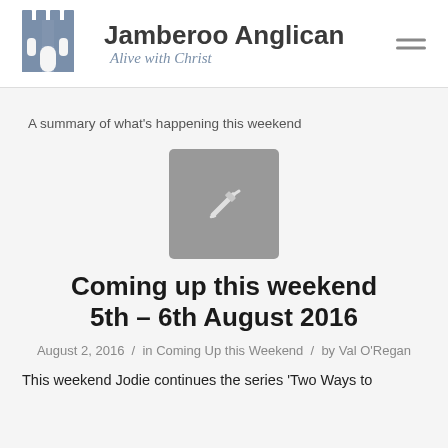Jamberoo Anglican — Alive with Christ
A summary of what's happening this weekend
[Figure (illustration): Gray square thumbnail with a white pencil/edit icon in the center]
Coming up this weekend 5th – 6th August 2016
August 2, 2016 / in Coming Up this Weekend / by Val O'Regan
This weekend Jodie continues the series 'Two Ways to